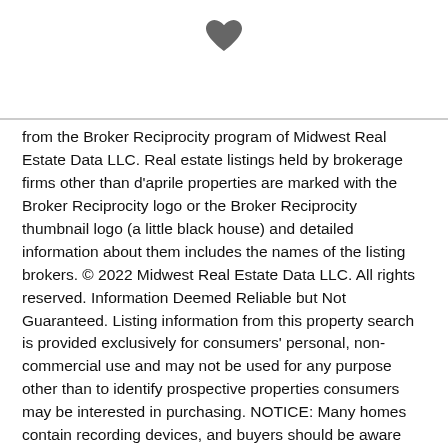[Figure (illustration): Dark gray filled heart icon centered near top of page]
from the Broker Reciprocity program of Midwest Real Estate Data LLC. Real estate listings held by brokerage firms other than d'aprile properties are marked with the Broker Reciprocity logo or the Broker Reciprocity thumbnail logo (a little black house) and detailed information about them includes the names of the listing brokers. © 2022 Midwest Real Estate Data LLC. All rights reserved. Information Deemed Reliable but Not Guaranteed. Listing information from this property search is provided exclusively for consumers' personal, non-commercial use and may not be used for any purpose other than to identify prospective properties consumers may be interested in purchasing. NOTICE: Many homes contain recording devices, and buyers should be aware they may be recorded during a showing. Based on information submitted to the MRED as of 9/2/2022 6:22:04 PM. All data is obtained from various sources and has not been, and will not be, verified by broker or MRED. MRED supplied Open House information is subject to change without